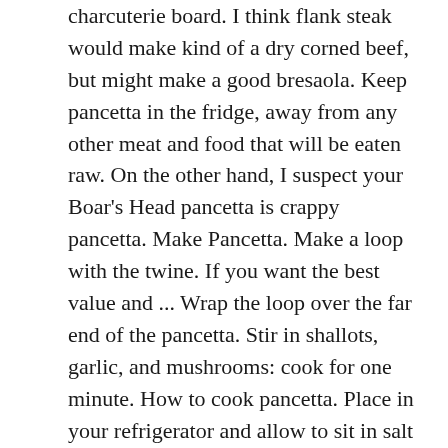charcuterie board. I think flank steak would make kind of a dry corned beef, but might make a good bresaola. Keep pancetta in the fridge, away from any other meat and food that will be eaten raw. On the other hand, I suspect your Boar's Head pancetta is crappy pancetta. Make Pancetta. Make a loop with the twine. If you want the best value and ... Wrap the loop over the far end of the pancetta. Stir in shallots, garlic, and mushrooms: cook for one minute. How to cook pancetta. Place in your refrigerator and allow to sit in salt mix for about 7-10 days. Broccoli rabe is folded ... The meat is cured with salt, pepper and herbs, then dried (natural bacon) or smoked with beech sawdust. For a quick dinner, whip up Tyler Florence's authentic Spaghetti alla Carbonara recipe, a rich tangle of pasta, pancetta and egg, from Food Network. The color is bright red, the scent is intense. Wrap the pancetta in the cloth and secure with string. I'm completely flat out of